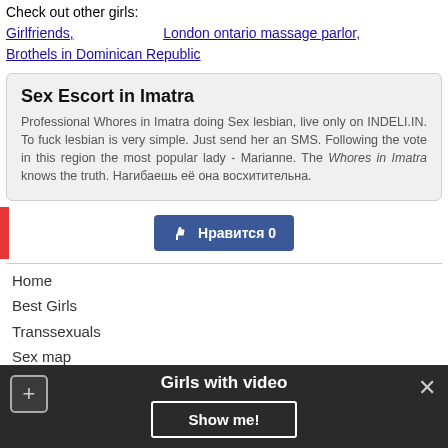Check out other girls: Girlfriends, London ontario massage parlor, Brothels in Dominican Republic
Sex Escort in Imatra
Professional Whores in Imatra doing Sex lesbian, live only on INDELI.IN. To fuck lesbian is very simple. Just send her an SMS. Following the vote in this region the most popular lady - Marianne. The Whores in Imatra knows the truth. Нагибаешь её она восхитительна.
[Figure (other): Facebook-style like button showing Нравится 0]
Home
Best Girls
Transsexuals
Sex map
Dating
Girls with video
Show me!